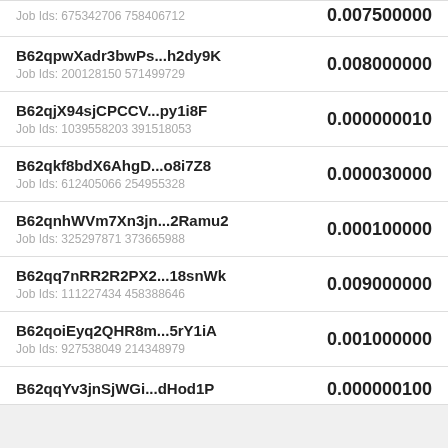Job Ids: 675342706 758406712
B62qpwXadr3bwPs...h2dy9K
Job Ids: 200128150 571499729
B62qjX94sjCPCCV...py1i8F
Job Ids: 1039558203 391518053
B62qkf8bdX6AhgD...o8i7Z8
Job Ids: 612405066 254955328
B62qnhWVm7Xn3jn...2Ramu2
Job Ids: 325297871 373665988
B62qq7nRR2R2PX2...18snWk
Job Ids: 111227434 458388646
B62qoiEyq2QHR8m...5rY1iA
Job Ids: 927538049 214348979
B62qqYv3jnSjWGi...dHod1P